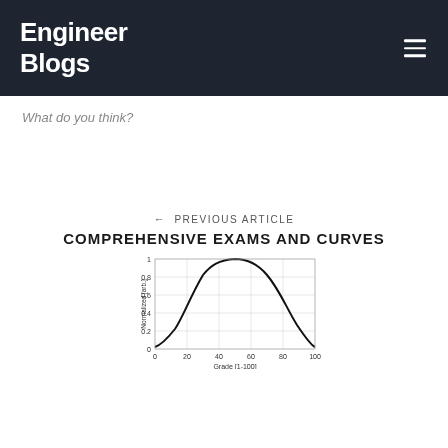Engineer Blogs
What do you think?
← PREVIOUS ARTICLE
COMPREHENSIVE EXAMS AND CURVES
[Figure (continuous-plot): Bell-curve shaped line chart showing normalized values (arb.) on the y-axis from 0 to 1, and Grade [1-100] on the x-axis from 0 to 100. The curve peaks near grade 50 at a normalized value of 1, tapering to near 0 at both ends.]